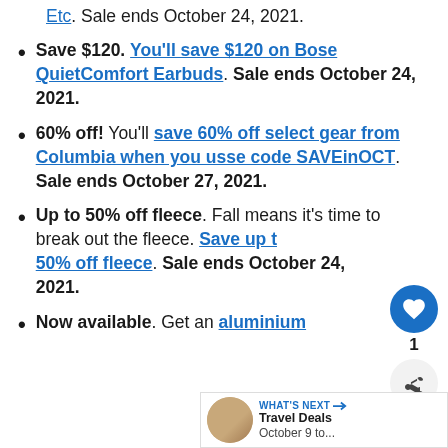Etc. Sale ends October 24, 2021.
Save $120. You'll save $120 on Bose QuietComfort Earbuds. Sale ends October 24, 2021.
60% off! You'll save 60% off select gear from Columbia when you usse code SAVEinOCT. Sale ends October 27, 2021.
Up to 50% off fleece. Fall means it's time to break out the fleece. Save up to 50% off fleece. Sale ends October 24, 2021.
Now available. Get an aluminium